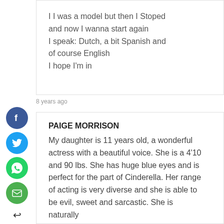I I was a model but then I Stoped and now I wanna start again
I speak: Dutch, a bit Spanish and of course English
I hope I'm in
8 years ago
PAIGE MORRISON
My daughter is 11 years old, a wonderful actress with a beautiful voice. She is a 4'10 and 90 lbs. She has huge blue eyes and is perfect for the part of Cinderella. Her range of acting is very diverse and she is able to be evil, sweet and sarcastic. She is naturally